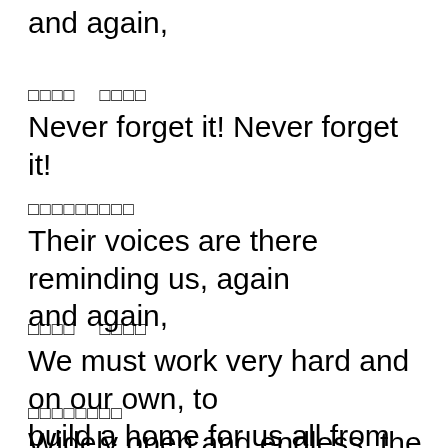and again,
□□□□  □□□□
Never forget it! Never forget it!
□□□□□□□□□
Their voices are there reminding us, again and again,
□□□□  □□□□
We must work very hard and on our own, to build a home for us all from any wildness.
□□□□□□□□
Widely open and endless, the Pacific Ocean,